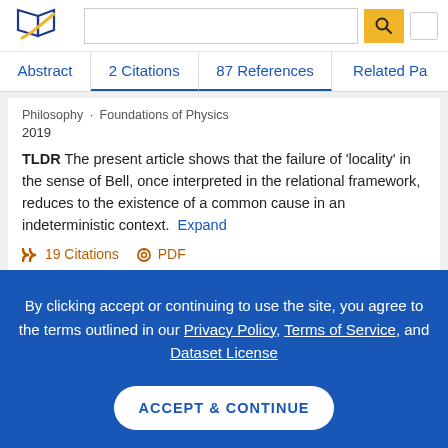[Figure (logo): Semantic Scholar logo - blue and gold checkmark/book icon]
Abstract | 2 Citations | 87 References | Related Papers
Philosophy · Foundations of Physics
2019
TLDR The present article shows that the failure of 'locality' in the sense of Bell, once interpreted in the relational framework, reduces to the existence of a common cause in an indeterministic context. Expand
19 Citations   PDF
By clicking accept or continuing to use the site, you agree to the terms outlined in our Privacy Policy, Terms of Service, and Dataset License
ACCEPT & CONTINUE